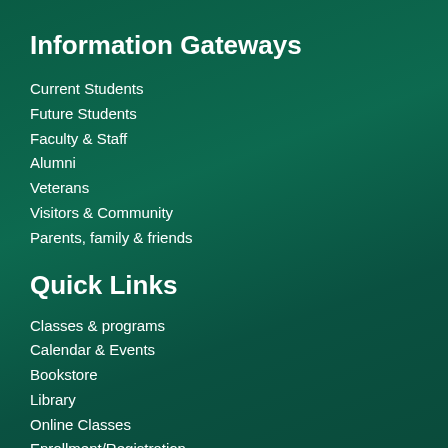Information Gateways
Current Students
Future Students
Faculty & Staff
Alumni
Veterans
Visitors & Community
Parents, family & friends
Quick Links
Classes & programs
Calendar & Events
Bookstore
Library
Online Classes
Enrollment/Registration
Transcripts
Pay Your Bill
Give to GCC